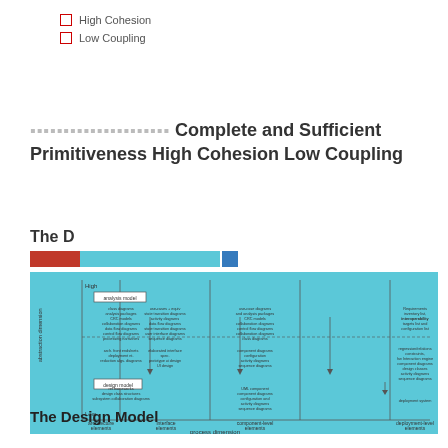High Cohesion
Low Coupling
▪▪▪▪▪▪▪▪▪▪▪▪▪▪▪▪▪▪▪▪▪ Complete and Sufficient Primitiveness High Cohesion Low Coupling
The D
[Figure (schematic): Design model diagram showing abstraction dimension (High to Low) vs process dimension (architecture elements, interface elements, component-level elements, deployment-level elements). Contains analysis model and design model boxes with arrows, dashed lines, and labeled content in each cell.]
The Design Model